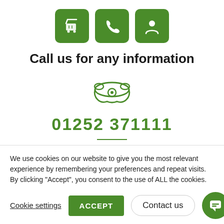[Figure (illustration): Three green rounded square icons in a row: a cart/package icon, a phone handset icon, and a person/account icon]
Call us for any information
[Figure (illustration): Green outline icon of a classic telephone/handset]
01252 371111
We use cookies on our website to give you the most relevant experience by remembering your preferences and repeat visits. By clicking “Accept”, you consent to the use of ALL the cookies.
Cookie settings
ACCEPT
Contact us